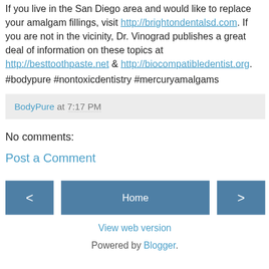If you live in the San Diego area and would like to replace your amalgam fillings, visit http://brightondentalsd.com. If you are not in the vicinity, Dr. Vinograd publishes a great deal of information on these topics at http://besttoothpaste.net & http://biocompatibledentist.org.
#bodypure #nontoxicdentistry #mercuryamalgams
BodyPure at 7:17 PM
No comments:
Post a Comment
Home
View web version
Powered by Blogger.